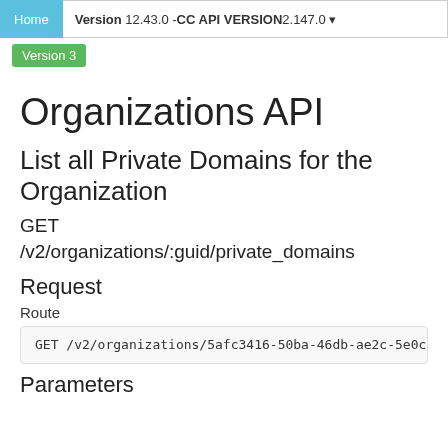Home | Version 12.43.0 - CC API VERSION 2.147.0
Version 3
Organizations API
List all Private Domains for the Organization
GET /v2/organizations/:guid/private_domains
Request
Route
GET /v2/organizations/5afc3416-50ba-46db-ae2c-5e0c88
Parameters